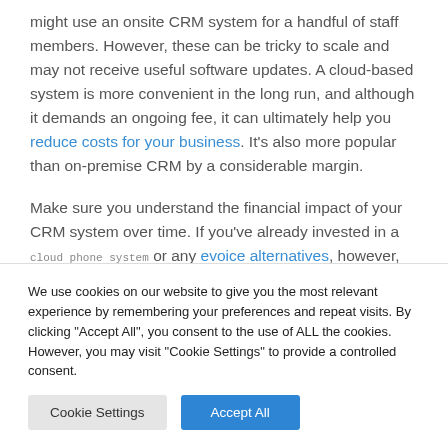might use an onsite CRM system for a handful of staff members. However, these can be tricky to scale and may not receive useful software updates. A cloud-based system is more convenient in the long run, and although it demands an ongoing fee, it can ultimately help you reduce costs for your business. It's also more popular than on-premise CRM by a considerable margin.
Make sure you understand the financial impact of your CRM system over time. If you've already invested in a cloud phone system or any evoice alternatives, however, the...
We use cookies on our website to give you the most relevant experience by remembering your preferences and repeat visits. By clicking "Accept All", you consent to the use of ALL the cookies. However, you may visit "Cookie Settings" to provide a controlled consent.